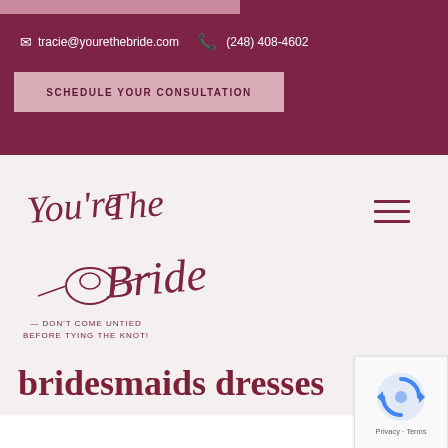tracie@yourethebride.com  (248) 408-4602
SCHEDULE YOUR CONSULTATION
[Figure (logo): You're The Bride logo with script text and ring illustration. Tagline: DON'T COME UNTIED BEFORE TYING THE KNOT!]
bridesmaids dresses
[Figure (other): Google reCAPTCHA badge with Privacy and Terms links]